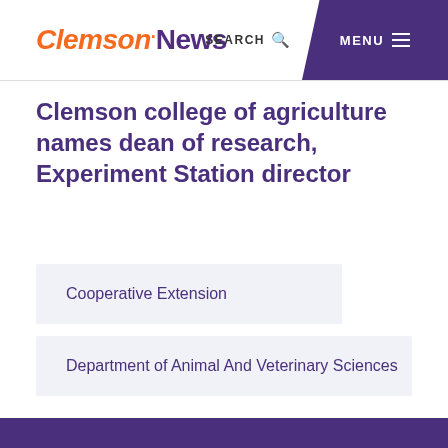Clemson News | SEARCH | MENU
Clemson college of agriculture names dean of research, Experiment Station director
Cooperative Extension
Department of Animal And Veterinary Sciences